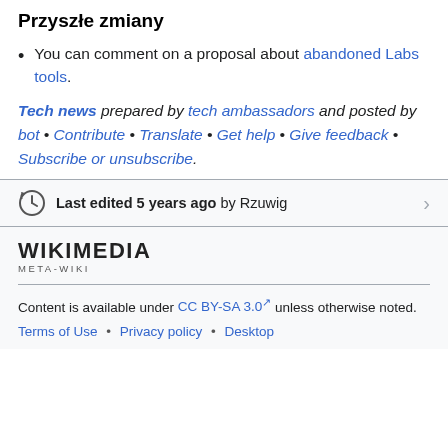Przyszłe zmiany
You can comment on a proposal about abandoned Labs tools.
Tech news prepared by tech ambassadors and posted by bot • Contribute • Translate • Get help • Give feedback • Subscribe or unsubscribe.
Last edited 5 years ago by Rzuwig
[Figure (logo): Wikimedia Meta-Wiki logo wordmark]
Content is available under CC BY-SA 3.0 unless otherwise noted.
Terms of Use • Privacy policy • Desktop